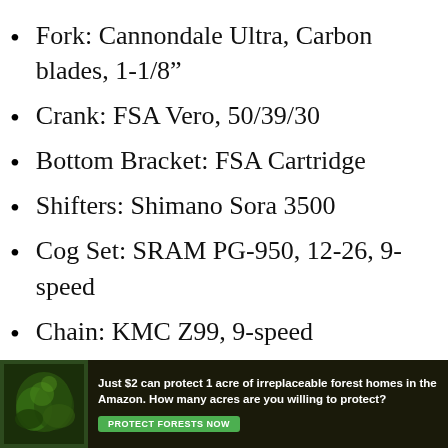Fork: Cannondale Ultra, Carbon blades, 1-1/8”
Crank: FSA Vero, 50/39/30
Bottom Bracket: FSA Cartridge
Shifters: Shimano Sora 3500
Cog Set: SRAM PG-950, 12-26, 9-speed
Chain: KMC Z99, 9-speed
Front Derailleur: Shimano Sora 3503, 31.8 clamp
Rear Derailleur: Shimano Sora 3500
[Figure (other): Advertisement banner: Just $2 can protect 1 acre of irreplaceable forest homes in the Amazon. How many acres are you willing to protect? PROTECT FORESTS NOW]